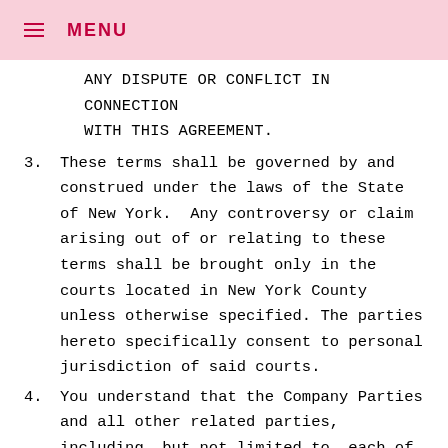≡ MENU
ANY DISPUTE OR CONFLICT IN CONNECTION WITH THIS AGREEMENT.
3. These terms shall be governed by and construed under the laws of the State of New York.  Any controversy or claim arising out of or relating to these terms shall be brought only in the courts located in New York County unless otherwise specified. The parties hereto specifically consent to personal jurisdiction of said courts.
4. You understand that the Company Parties and all other related parties, including, but not limited to, each of the Company Parties and the related parties' management, employees, and agents, will not be held responsible, financially or otherwise, for any items that are left, lost, stolen, destroyed...